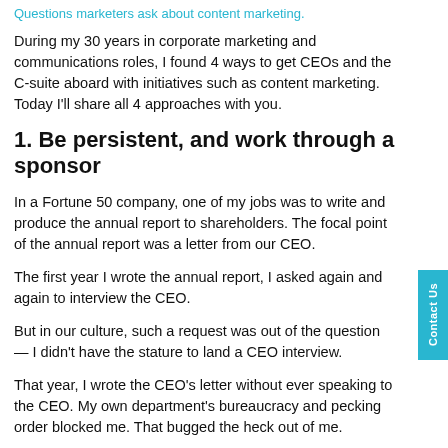Questions marketers ask about content marketing.
During my 30 years in corporate marketing and communications roles, I found 4 ways to get CEOs and the C-suite aboard with initiatives such as content marketing. Today I'll share all 4 approaches with you.
1. Be persistent, and work through a sponsor
In a Fortune 50 company, one of my jobs was to write and produce the annual report to shareholders. The focal point of the annual report was a letter from our CEO.
The first year I wrote the annual report, I asked again and again to interview the CEO.
But in our culture, such a request was out of the question — I didn't have the stature to land a CEO interview.
That year, I wrote the CEO's letter without ever speaking to the CEO. My own department's bureaucracy and pecking order blocked me. That bugged the heck out of me.
A year later, the head of our department had retired. And an